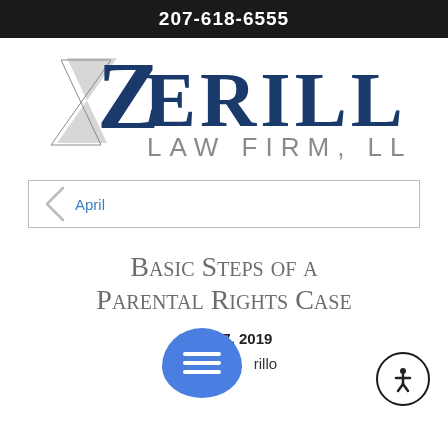207-618-6555
[Figure (logo): Zerillo Law Firm, LLC logo with stylized Z graphic and firm name in blue and gray text]
April
Basic Steps of a Parental Rights Case
April 07, 2019
By Zerillo